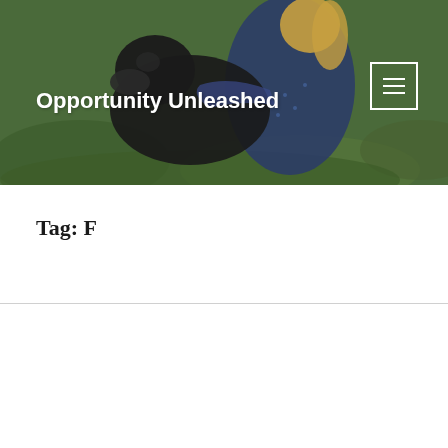[Figure (photo): Header image showing a person with a large black dog (Labrador) outdoors on grass, with a green/natural background. The image is cropped and used as a website header banner.]
Opportunity Unleashed
Tag: F